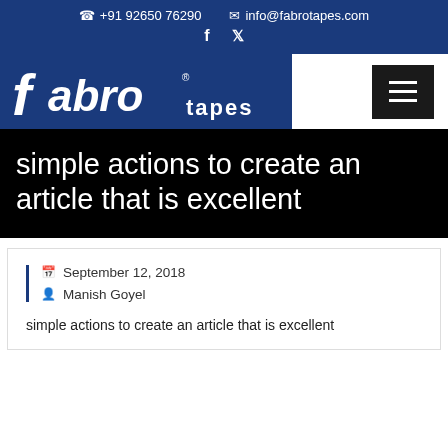☎ +91 92650 76290   ✉ info@fabrotapes.com   f   🐦
[Figure (logo): Fabro Tapes logo — white stylized italic 'fabro' text with registered trademark symbol, followed by 'tapes' in smaller white letters on blue background]
simple actions to create an article that is excellent
September 12, 2018
Manish Goyel
simple actions to create an article that is excellent